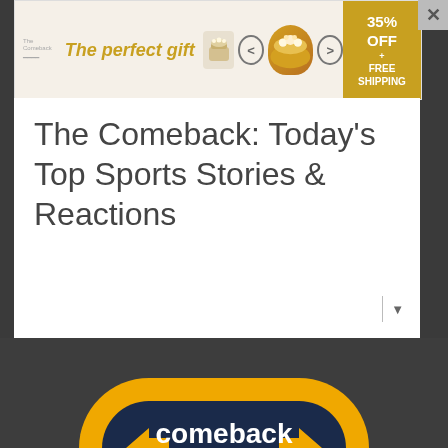[Figure (screenshot): Advertisement banner: 'The perfect gift' with food bowl image, navigation arrows, and '35% OFF + FREE SHIPPING' promo badge]
The Comeback: Today's Top Sports Stories & Reactions
[Figure (logo): Comeback Media logo — orange/yellow rounded arrow shape with 'comeback media' text in navy blue]
[Figure (screenshot): MLB 2022 Regular Season game preview card: Angels @ Rays, Stadium: Tropicana Field, Date: August 24, 2022]
Angels @ Rays – MLB Game Preview for August 24, 2022 19:10